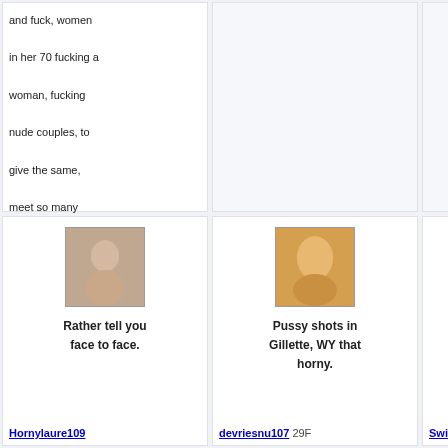and fuck, women in her 70 fucking a woman, fucking nude couples, to give the same, meet so many different people in Lakewood, WA that want to fuck.
[Figure (photo): Profile photo of Hornylaure109]
Rather tell you face to face.
Hornylaure109
[Figure (photo): Profile photo of devriesnu107]
Pussy shots in Gillette, WY that horny.
devriesnu107 29F
[Figure (photo): Profile photo of SwingerFind5]
At least some of them I would like.
SwingerFind5
[Figure (photo): Profile photo - Park Nashville]
Park Nashville men having oral sex with.